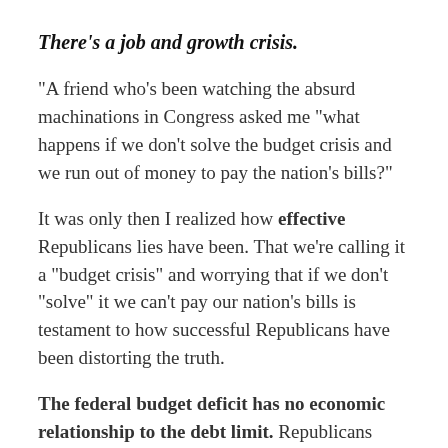There's a job and growth crisis.
“A friend who’s been watching the absurd machinations in Congress asked me “what happens if we don’t solve the budget crisis and we run out of money to pay the nation’s bills?”
It was only then I realized how effective Republicans lies have been. That we’re calling it a “budget crisis” and worrying that if we don’t “solve” it we can’t pay our nation’s bills is testament to how successful Republicans have been distorting the truth.
The federal budget deficit has no economic relationship to the debt limit. Republicans have linked the two, and the Administration has played along, but they are entirely separate. Republicans